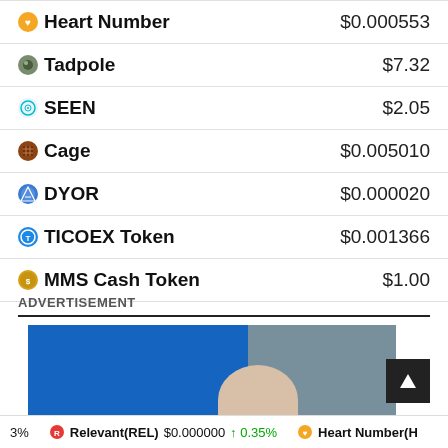| Token | Price |
| --- | --- |
| Heart Number | $0.000553 |
| Tadpole | $7.32 |
| SEEN | $2.05 |
| Cage | $0.005010 |
| DYOR | $0.000020 |
| TICOEX Token | $0.001366 |
| MMS Cash Token | $1.00 |
ADVERTISEMENT
[Figure (photo): Advertisement banner image with blue and gray background, partially showing a hand holding an object]
3%  Relevant(REL)  $0.000000  ↑ 0.35%  Heart Number(H